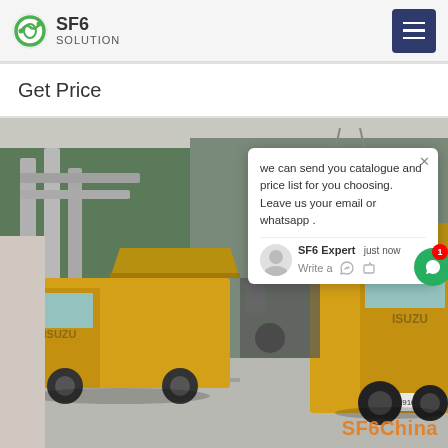SF6 SOLUTION
Get Price
[Figure (photo): Two yellow Isuzu trucks at an industrial facility with large pipes and metal structures. The trucks appear to be SF6 gas service vehicles with specialized equipment mounted on the flatbed. Orange watermark text reads SF6China in lower right.]
we can send you catalogue and price list for you choosing. Leave us your email or whatsapp .
SF6 Expert   just now
Write a